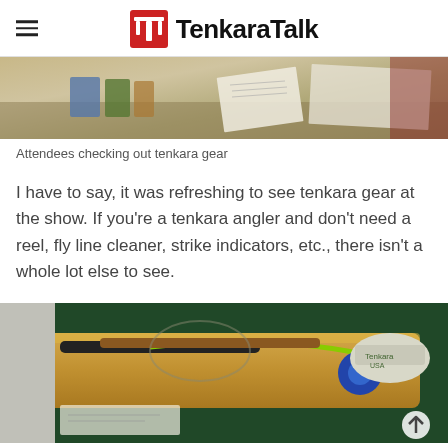TenkaraTalk
[Figure (photo): Attendees checking out tenkara gear at a show — a table with books, papers, and tenkara-related materials]
Attendees checking out tenkara gear
I have to say, it was refreshing to see tenkara gear at the show. If you're a tenkara angler and don't need a reel, fly line cleaner, strike indicators, etc., there isn't a whole lot else to see.
[Figure (photo): Tenkara rods and gear displayed on a wooden table with a Tenkara USA hat visible]